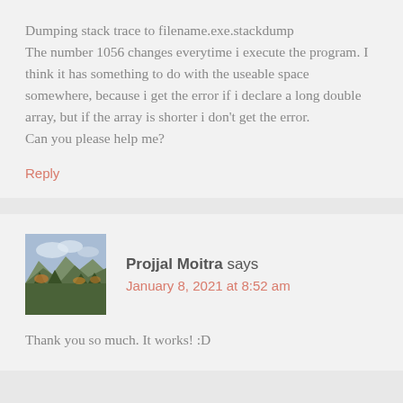Dumping stack trace to filename.exe.stackdump The number 1056 changes everytime i execute the program. I think it has something to do with the useable space somewhere, because i get the error if i declare a long double array, but if the array is shorter i don't get the error. Can you please help me?
Reply
Projjal Moitra says
January 8, 2021 at 8:52 am
Thank you so much. It works! :D